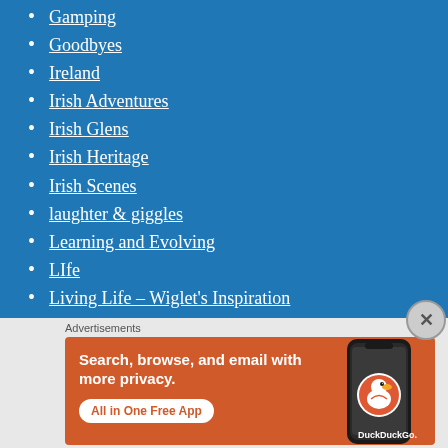Gamping
Goodbyes
Ireland
Irish Adventures
Irish Glens
Irish Heritage
Irish Scenes
laughter & giggles
Learning and Evolving
LIfe
Living Life – Wiglet's Inspiration
Advertisements
[Figure (screenshot): DuckDuckGo advertisement banner: orange background with white text reading 'Search, browse, and email with more privacy. All in One Free App' with a DuckDuckGo logo and a smartphone image on the right.]